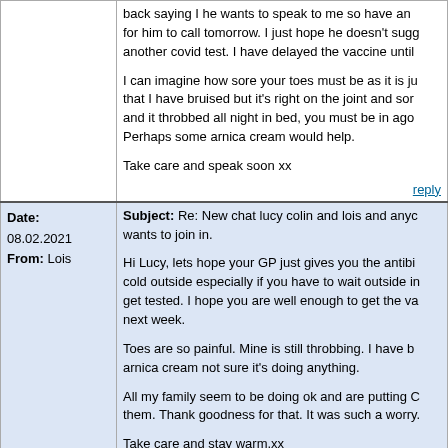back saying I he wants to speak to me so have arranged for him to call tomorrow. I just hope he doesn't suggest another covid test. I have delayed the vaccine until

I can imagine how sore your toes must be as it is just that I have bruised but it's right on the joint and sore and it throbbed all night in bed, you must be in agony. Perhaps some arnica cream would help.

Take care and speak soon xx
reply
Date: 08.02.2021
From: Lois
Subject: Re: New chat lucy colin and lois and anyone wants to join in.

Hi Lucy, lets hope your GP just gives you the antibi... cold outside especially if you have to wait outside in... get tested. I hope you are well enough to get the va... next week.

Toes are so painful. Mine is still throbbing. I have b... arnica cream not sure it's doing anything.

All my family seem to be doing ok and are putting C... them. Thank goodness for that. It was such a worry...

Take care and stay warm.xx
reply